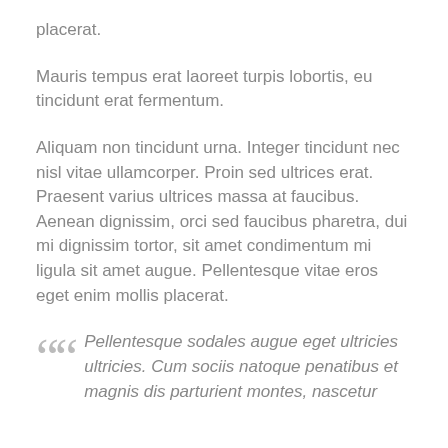placerat.
Mauris tempus erat laoreet turpis lobortis, eu tincidunt erat fermentum.
Aliquam non tincidunt urna. Integer tincidunt nec nisl vitae ullamcorper. Proin sed ultrices erat. Praesent varius ultrices massa at faucibus. Aenean dignissim, orci sed faucibus pharetra, dui mi dignissim tortor, sit amet condimentum mi ligula sit amet augue. Pellentesque vitae eros eget enim mollis placerat.
Pellentesque sodales augue eget ultricies ultricies. Cum sociis natoque penatibus et magnis dis parturient montes, nascetur